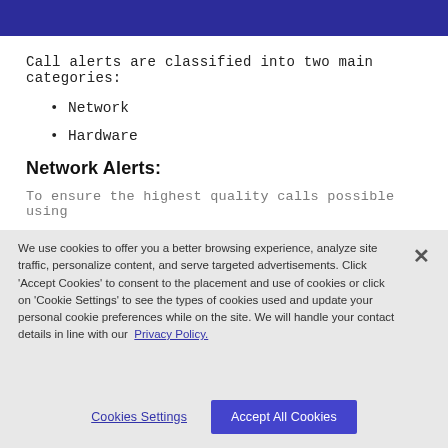[Figure (screenshot): Partial navy/dark blue navigation banner at the top of the page, cropped]
Call alerts are classified into two main categories:
Network
Hardware
Network Alerts:
To ensure the highest quality calls possible using
We use cookies to offer you a better browsing experience, analyze site traffic, personalize content, and serve targeted advertisements. Click 'Accept Cookies' to consent to the placement and use of cookies or click on 'Cookie Settings' to see the types of cookies used and update your personal cookie preferences while on the site. We will handle your contact details in line with our  Privacy Policy.
Cookies Settings
Accept All Cookies